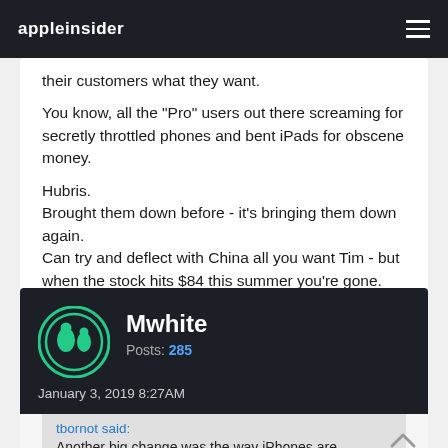appleinsider
their customers what they want.
You know, all the "Pro" users out there screaming for secretly throttled phones and bent iPads for obscene money.

Hubris.
Brought them down before - it's bringing them down again.
Can try and deflect with China all you want Tim - but when the stock hits $84 this summer you're gone.
Mwhite
Posts: 285
January 3, 2019 8:27AM
tbornot said:
Another big change was the way iPhones are purchased, from the monthly payment to your cell provider to a one time up front. People don't mind